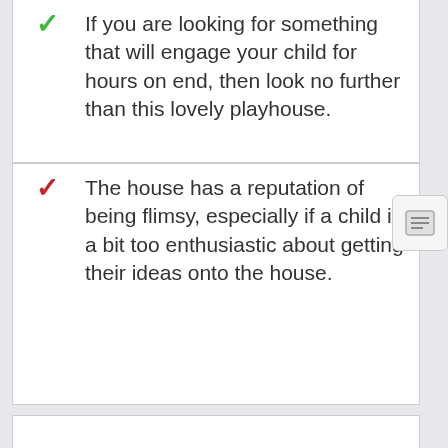If you are looking for something that will engage your child for hours on end, then look no further than this lovely playhouse.
The house has a reputation of being flimsy, especially if a child is a bit too enthusiastic about getting their ideas onto the house.